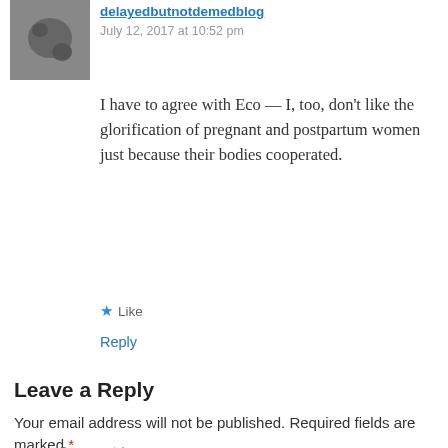delayedbutnotdemedblog
July 12, 2017 at 10:52 pm
I have to agree with Eco — I, too, don't like the glorification of pregnant and postpartum women just because their bodies cooperated.
Like
Reply
Leave a Reply
Your email address will not be published. Required fields are marked *
Comment *